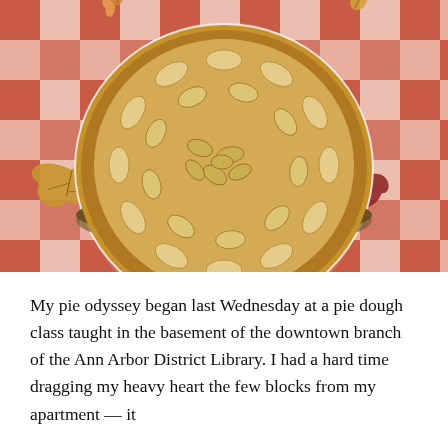[Figure (photo): An apple pie with sliced apples visible on top in a round pan, placed on a red and white checkered tablecloth background with autumn leaves (orange, yellow, and dark red) scattered around.]
My pie odyssey began last Wednesday at a pie dough class taught in the basement of the downtown branch of the Ann Arbor District Library. I had a hard time dragging my heavy heart the few blocks from my apartment — it